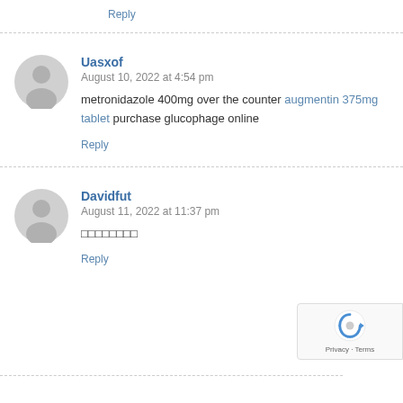Reply
Uasxof
August 10, 2022 at 4:54 pm
metronidazole 400mg over the counter augmentin 375mg tablet purchase glucophage online
Reply
Davidfut
August 11, 2022 at 11:37 pm
□□□□□□□□
Reply